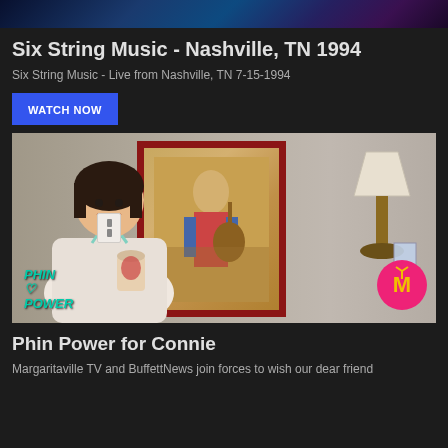[Figure (screenshot): Top portion of a dark-themed video streaming webpage showing a blue-toned music video thumbnail at the very top]
Six String Music - Nashville, TN 1994
Six String Music - Live from Nashville, TN 7-15-1994
[Figure (other): Blue rectangular WATCH NOW button]
[Figure (photo): Video thumbnail showing a woman holding a cup in front of a painting of a guitar player, with a lamp on the right side and Phin Power logo bottom left and Margaritaville circular badge bottom right]
Phin Power for Connie
Margaritaville TV and BuffettNews join forces to wish our dear friend